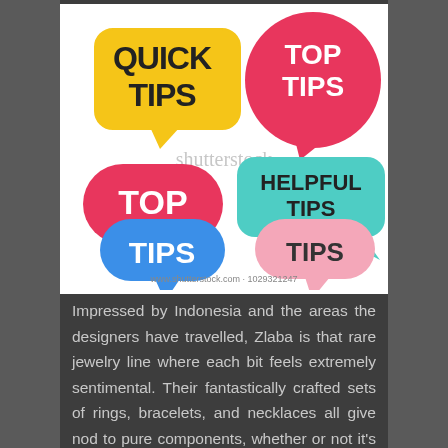[Figure (illustration): Shutterstock image showing colorful speech bubble icons with text: QUICK TIPS (yellow), TOP TIPS (pink/red circle), TOP TIPS (red bubble), HELPFUL TIPS (teal/cyan bubble), TIPS (blue bubble), TIPS (pink bubble). Watermark 'shutterstock' visible. URL: www.shutterstock.com · 1029321247]
Impressed by Indonesia and the areas the designers have travelled, Zlaba is that rare jewelry line where each bit feels extremely sentimental. Their fantastically crafted sets of rings, bracelets, and necklaces all give nod to pure components, whether or not it's the inclusion of smoothed down